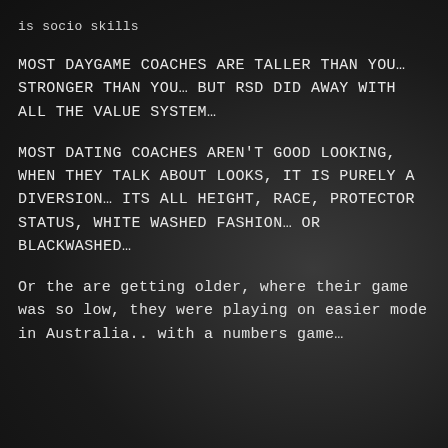is socio skills
MOST DAYGAME COACHES ARE TALLER THAN YOU… STRONGER THAN YOU… BUT RSD DID AWAY WITH ALL THE VALUE SYSTEM…
MOST DATING COACHES AREN'T GOOD LOOKING, WHEN THEY TALK ABOUT LOOKS, IT IS PURELY A DIVERSION… ITS ALL HEIGHT, RACE, PROTECTOR STATUS, WHITE WASHED FASHION… OR BLACKWASHED…
Or the are getting older, where their game was so low, they were playing on easier mode in Australia.. with a numbers game…